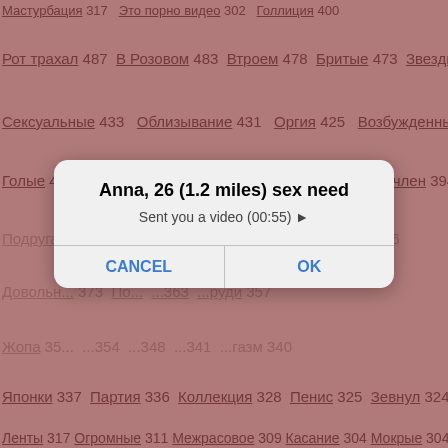[Figure (screenshot): Background of a website with Russian text links and numbers on a mauve/dusty rose colored background, partially obscured by a dialog box overlay.]
Anna, 26 (1.2 miles) sex need
Sent you a video (00:55) ▶
CANCEL   OK